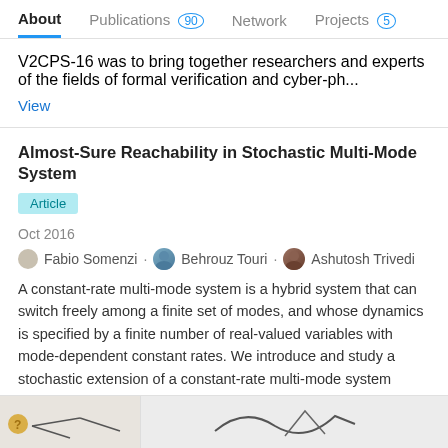About | Publications 90 | Network | Projects 5
V2CPS-16 was to bring together researchers and experts of the fields of formal verification and cyber-ph...
View
Almost-Sure Reachability in Stochastic Multi-Mode System
Article
Oct 2016
Fabio Somenzi · Behrouz Touri · Ashutosh Trivedi
A constant-rate multi-mode system is a hybrid system that can switch freely among a finite set of modes, and whose dynamics is specified by a finite number of real-valued variables with mode-dependent constant rates. We introduce and study a stochastic extension of a constant-rate multi-mode system where the dynamics is specified by mode-dependent...
View
[Figure (screenshot): Partial thumbnail images at the bottom of the page showing the beginning of another publication entry]